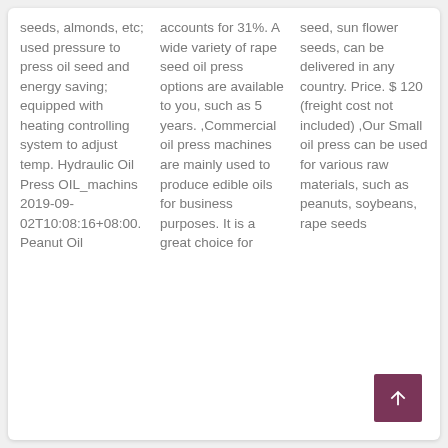seeds, almonds, etc; used pressure to press oil seed and energy saving; equipped with heating controlling system to adjust temp. Hydraulic Oil Press OIL_machins 2019-09-02T10:08:16+08:00. Peanut Oil
accounts for 31%. A wide variety of rape seed oil press options are available to you, such as 5 years. ,Commercial oil press machines are mainly used to produce edible oils for business purposes. It is a great choice for
seed, sun flower seeds, can be delivered in any country. Price. $ 120 (freight cost not included) ,Our Small oil press can be used for various raw materials, such as peanuts, soybeans, rape seeds